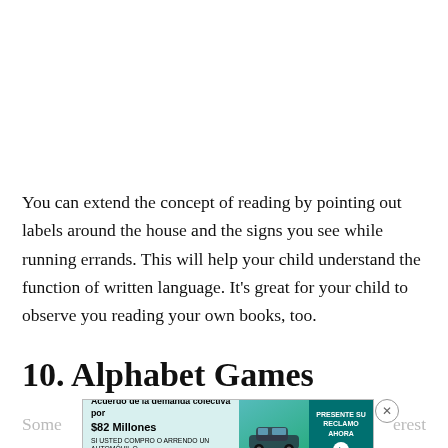You can extend the concept of reading by pointing out labels around the house and the signs you see while running errands. This will help your child understand the function of written language. It's great for your child to observe you reading your own books, too.
10. Alphabet Games
[Figure (other): Advertisement banner: 'Acuerdo de la demanda colectiva por $82 Millones' with car image and 'PRESENTE SU RECLAMO AHORA' button]
Some ... erest in learn...